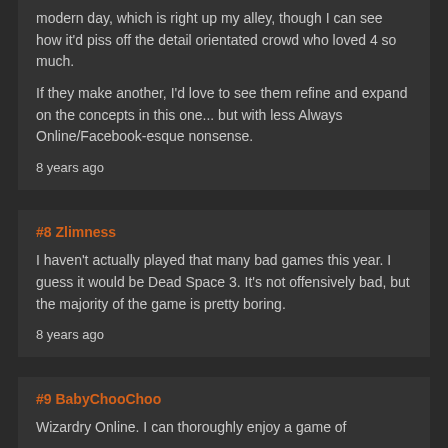modern day, which is right up my alley, though I can see how it'd piss off the detail orientated crowd who loved 4 so much.
If they make another, I'd love to see them refine and expand on the concepts in this one... but with less Always Online/Facebook-esque nonsense.
8 years ago
#8 Zlimness
I haven't actually played that many bad games this year. I guess it would be Dead Space 3. It's not offensively bad, but the majority of the game is pretty boring.
8 years ago
#9 BabyChooChoo
Wizardry Online. I can thoroughly enjoy a game of